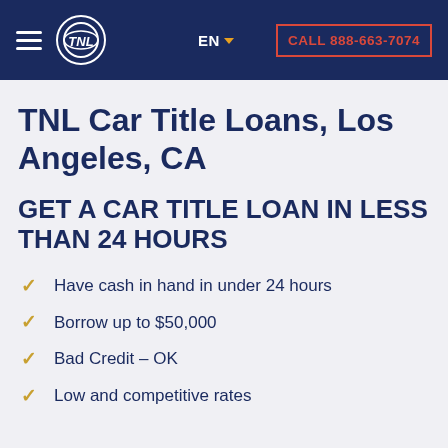TNL logo navigation — EN — CALL 888-663-7074
TNL Car Title Loans, Los Angeles, CA
GET A CAR TITLE LOAN IN LESS THAN 24 HOURS
Have cash in hand in under 24 hours
Borrow up to $50,000
Bad Credit – OK
Low and competitive rates